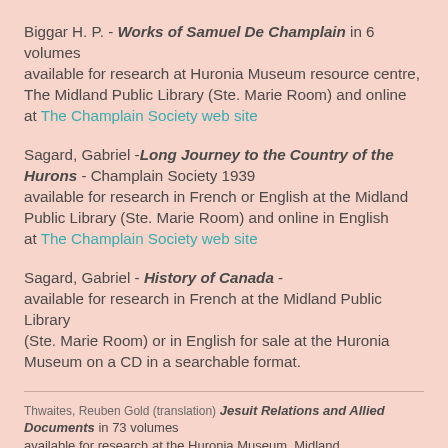Biggar H. P. - Works of Samuel De Champlain in 6 volumes available for research at Huronia Museum resource centre, The Midland Public Library (Ste. Marie Room) and online at The Champlain Society web site
Sagard, Gabriel -Long Journey to the Country of the Hurons - Champlain Society 1939 available for research in French or English at the Midland Public Library (Ste. Marie Room) and online in English at The Champlain Society web site
Sagard, Gabriel - History of Canada - available for research in French at the Midland Public Library (Ste. Marie Room) or in English for sale at the Huronia Museum on a CD in a searchable format.
Thwaites, Reuben Gold (translation) Jesuit Relations and Allied Documents in 73 volumes available for research at the Huronia Museum, Midland Public Library (Ste. Marie Room) and online at